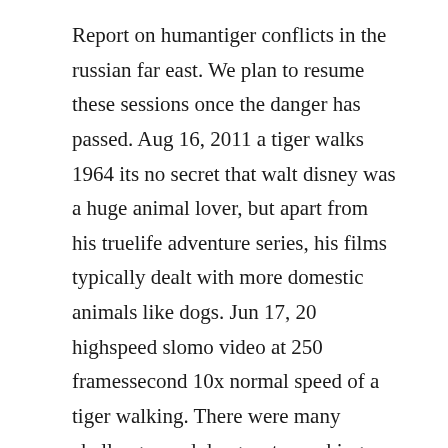Report on humantiger conflicts in the russian far east. We plan to resume these sessions once the danger has passed. Aug 16, 2011 a tiger walks 1964 its no secret that walt disney was a huge animal lover, but apart from his truelife adventure series, his films typically dealt with more domestic animals like dogs. Jun 17, 20 highspeed slomo video at 250 framessecond 10x normal speed of a tiger walking. There were many challenges and dangers to working with wild animals, which the studio had a minor experience with from